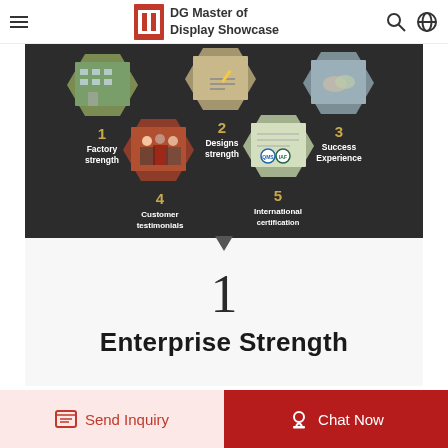DG Master of Display Showcase
[Figure (infographic): Hexagonal infographic showing 5 enterprise strengths: 1-Factory strength (building photo), 2-Designs strength (hand writing photo), 3-Success Experience (handshake photo), 4-Customer testimonials (group photo), 5-International certification (certificates/logos). Numbers 1-5 label each hexagon on a dark background.]
1
Enterprise Strength
Send Inquiry
Chat Now